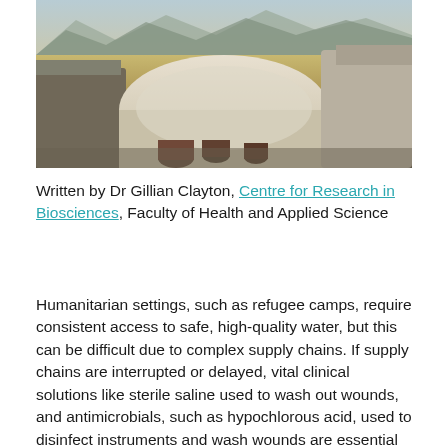[Figure (photo): Photograph of a refugee camp showing tent structures in a dry, arid landscape with mountains in the background]
Written by Dr Gillian Clayton, Centre for Research in Biosciences, Faculty of Health and Applied Science
Humanitarian settings, such as refugee camps, require consistent access to safe, high-quality water, but this can be difficult due to complex supply chains. If supply chains are interrupted or delayed, vital clinical solutions like sterile saline used to wash out wounds, and antimicrobials, such as hypochlorous acid, used to disinfect instruments and wash wounds are essential to ensure patient safety.